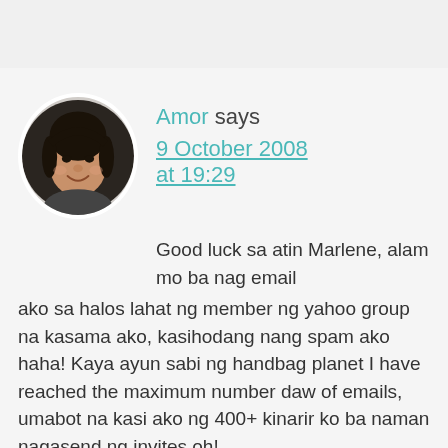[Figure (photo): Circular avatar photo of a woman (Amor) with dark hair, smiling, against a dark background.]
Amor says
9 October 2008 at 19:29

Good luck sa atin Marlene, alam mo ba nag email ako sa halos lahat ng member ng yahoo group na kasama ako, kasihodang nang spam ako haha! Kaya ayun sabi ng handbag planet I have reached the maximum number daw of emails, umabot na kasi ako ng 400+ kinarir ko ba naman nagasend ng invites oh!